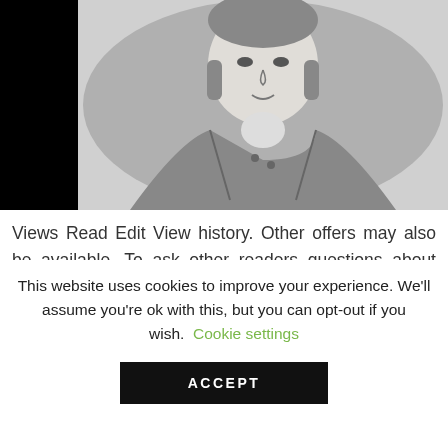[Figure (illustration): A pencil sketch portrait of a person in period clothing, shown from chest up, wearing a coat and cravat. The image has black bars on the left and right sides.]
Views Read Edit View history. Other offers may also be available. To ask other readers questions about Manual Of Classical Erotologyplease sign up. Sign in to check out Check out as guest. Lord rated it really liked it Aug 29, Refer to eBay Return
This website uses cookies to improve your experience. We'll assume you're ok with this, but you can opt-out if you wish.  Cookie settings  ACCEPT